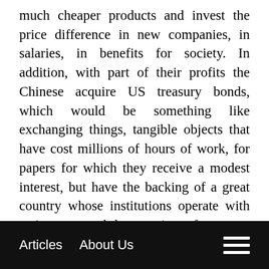much cheaper products and invest the price difference in new companies, in salaries, in benefits for society. In addition, with part of their profits the Chinese acquire US treasury bonds, which would be something like exchanging things, tangible objects that have cost millions of hours of work, for papers for which they receive a modest interest, but have the backing of a great country whose institutions operate with seriousness and the promises of payment are religiously fulfilled.

90% of international transactions are made in dollars. 70% of the countries keep their reserves in dollars or in treasury bonds. What else does Trump
Articles   About Us